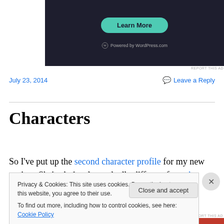[Figure (screenshot): Dark-themed advertisement banner with 'Learn More' teal button and 'Powered by WordPress.com' text at bottom]
REPORT THIS AD
July 23, 2014
Leave a Reply
Characters
So I've put up the second character profile for my new project. She's obviously markedly different from the
Privacy & Cookies: This site uses cookies. By continuing to use this website, you agree to their use.
To find out more, including how to control cookies, see here: Cookie Policy
Close and accept